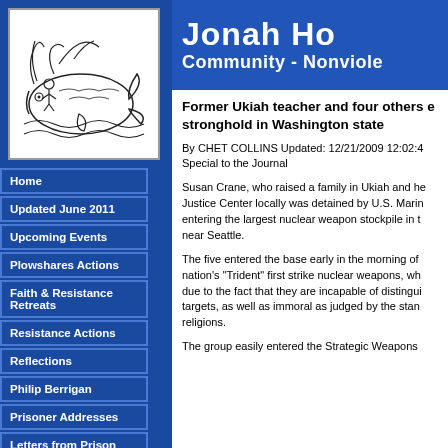[Figure (illustration): Line art illustration of Jonah and the whale — a figure being swallowed by a large fish amid waves, black and white drawing.]
Jonah House
Community - Nonviolence
Home
Updated June 2011
Upcoming Events
Plowshares Actions
Faith & Resistance Retreats
Resistance Actions
Reflections
Philip Berrigan
Prisoner Addresses
Letters from Prison
Former Ukiah teacher and four others enter nuclear stronghold in Washington state
By CHET COLLINS Updated: 12/21/2009 12:02:45 PM PST
Special to the Journal
Susan Crane, who raised a family in Ukiah and helped found the Redwood Justice Center locally was detained by U.S. Marines over the weekend after entering the largest nuclear weapon stockpile in the world, a Navy base near Seattle.
The five entered the base early in the morning of Dec. 2 to protest the nation's "Trident" first strike nuclear weapons, which they claim are illegal due to the fact that they are incapable of distinguishing civilian from military targets, as well as immoral as judged by the standards of the world's major religions.
The group easily entered the Strategic Weapons...